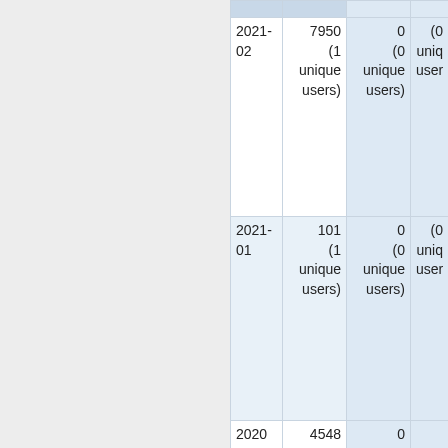| Date | Total | Unique | ... |
| --- | --- | --- | --- |
| 2021-02 | 7950 (1 unique users) | 0 (0 unique users) | (0 unique users) |
| 2021-01 | 101 (1 unique users) | 0 (0 unique users) | (0 unique users) |
| 2020 | 4548 | 0 |  |